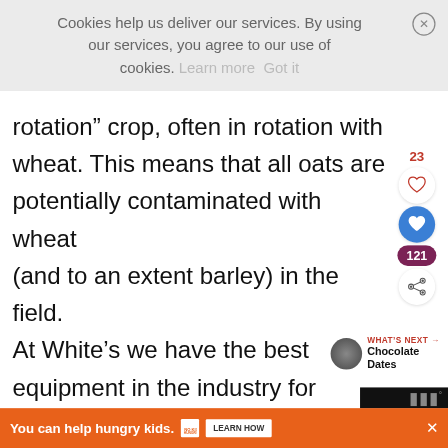Cookies help us deliver our services. By using our services, you agree to our use of cookies. Learn more Got it
rotation” crop, often in rotation with wheat. This means that all oats are potentially contaminated with wheat (and to an extent barley) in the field. At White’s we have the best equipment in the industry for removing non-oat seeds (these include wheat, barley and other
[Figure (infographic): Social media sidebar with heart/like icons showing count 23, a blue heart icon, a dark purple circle with count 121, and a share icon]
[Figure (infographic): What's Next widget showing a circular thumbnail image and text 'WHAT'S NEXT -> Chocolate Dates']
[Figure (infographic): Orange advertisement banner: 'You can help hungry kids. NO KID HUNGRY LEARN HOW' with close button]